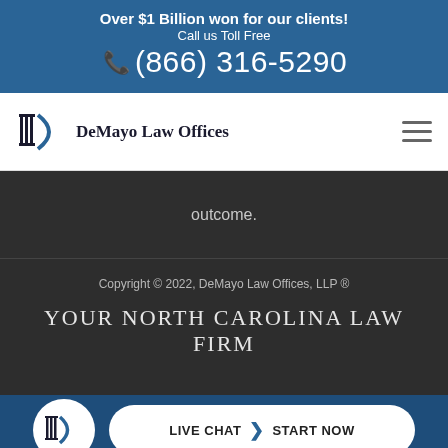Over $1 Billion won for our clients! Call us Toll Free (866) 316-5290
[Figure (logo): DeMayo Law Offices logo with pillars and D icon]
outcome.
Copyright © 2022, DeMayo Law Offices, LLP ®
YOUR NORTH CAROLINA LAW FIRM
LIVE CHAT  START NOW